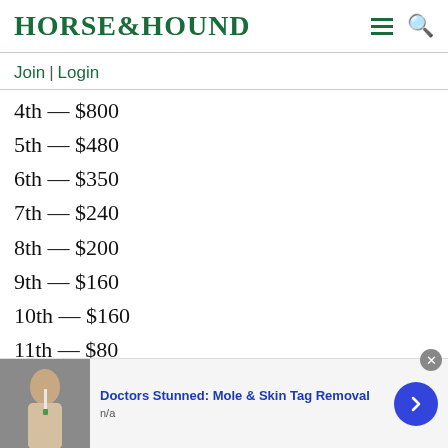HORSE&HOUND
Join | Login
4th — $800
5th — $480
6th — $350
7th — $240
8th — $200
9th — $160
10th — $160
11th — $80
12th — $80
[Figure (other): Advertisement banner: Doctors Stunned: Mole & Skin Tag Removal, n/a, with a photo of a person using a tool on their face]